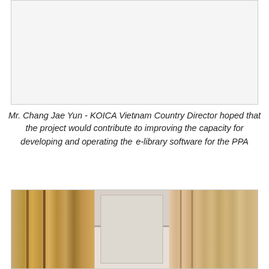[Figure (photo): Top photo (partially visible, cropped at top of page) showing an indoor scene, likely related to the KOICA Vietnam project.]
Mr. Chang Jae Yun - KOICA Vietnam Country Director hoped that the project would contribute to improving the capacity for developing and operating the e-library software for the PPA
[Figure (photo): Bottom photo showing what appears to be wooden shelving or furniture and an air conditioning unit or equipment, likely in the PPA library setting.]